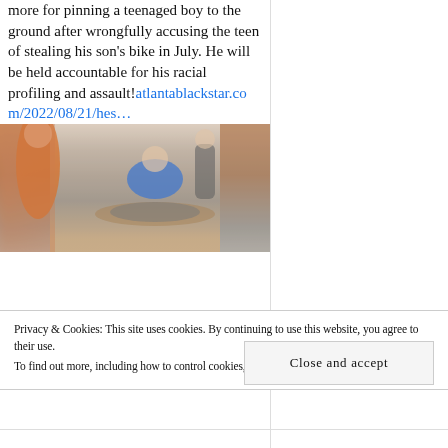more for pinning a teenaged boy to the ground after wrongfully accusing the teen of stealing his son's bike in July. He will be held accountable for his racial profiling and assault!atlantablackstar.com/2022/08/21/hes…
[Figure (photo): A blurry outdoor photo showing several people, one person appears to be pinned to the ground while others stand around. The image is partially blurred, showing figures in orange and blue clothing on a sidewalk.]
Privacy & Cookies: This site uses cookies. By continuing to use this website, you agree to their use.
To find out more, including how to control cookies, see here: Cookie Policy
Close and accept